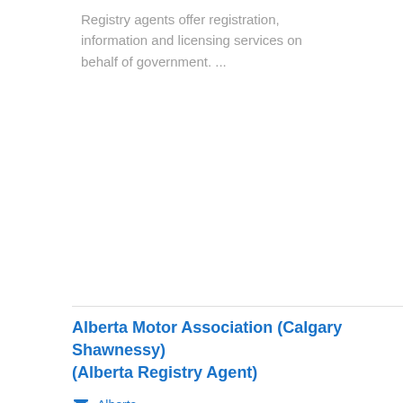Registry agents offer registration, information and licensing services on behalf of government. ...
Alberta Motor Association (Calgary Shawnessy) (Alberta Registry Agent)
Alberta
600-85 SHAWVILLE BLVD SE, CALGARY AB T2Y 3W5
11.09 km